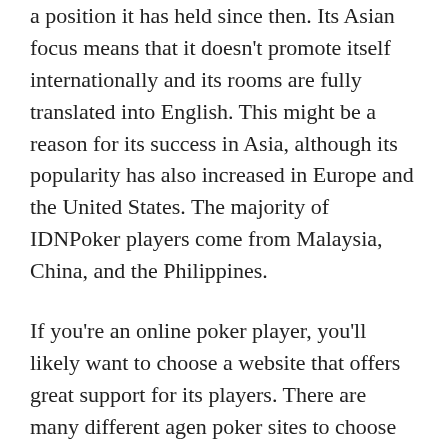a position it has held since then. Its Asian focus means that it doesn't promote itself internationally and its rooms are fully translated into English. This might be a reason for its success in Asia, although its popularity has also increased in Europe and the United States. The majority of IDNPoker players come from Malaysia, China, and the Philippines.
If you're an online poker player, you'll likely want to choose a website that offers great support for its players. There are many different agen poker sites to choose from, and the best ones have a wide range of games, ops, and ruang. Just keep in mind that if you want to enjoy playing poker, you need to pick the right site. You'll be glad you did. It's worth checking out – there's no better way to play poker.
Aside from convenience, you can play poker at anytime and anywhere. Many agen resmi idn poker